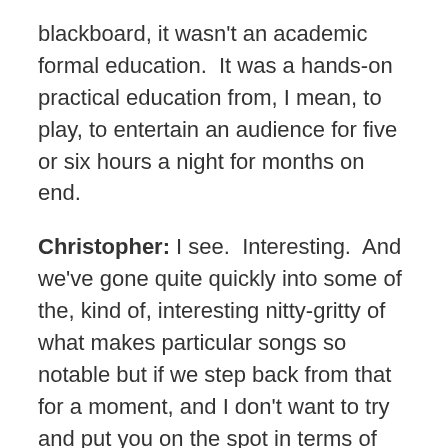blackboard, it wasn't an academic formal education.  It was a hands-on practical education from, I mean, to play, to entertain an audience for five or six hours a night for months on end.
Christopher: I see.  Interesting.  And we've gone quite quickly into some of the, kind of, interesting nitty-gritty of what makes particular songs so notable but if we step back from that for a moment, and I don't want to try and put you on the spot in terms of  generalizing, but is there any kind of way of explaining why The Beatles are so remarkable, given your extensive work analyzing their music? Is there any reason they stand out and have had such success and longevity compared with other